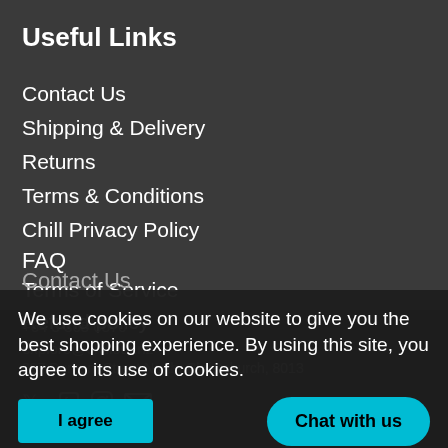Useful Links
Contact Us
Shipping & Delivery
Returns
Terms & Conditions
Chill Privacy Policy
FAQ
Terms of Service
Refund policy
Contact Us
+64 3 365 6570
explore@chillout.nz
287 Durham Street North, Christchurch, 8013
We use cookies on our website to give you the best shopping experience. By using this site, you agree to its use of cookies.
I agree
Chat with us